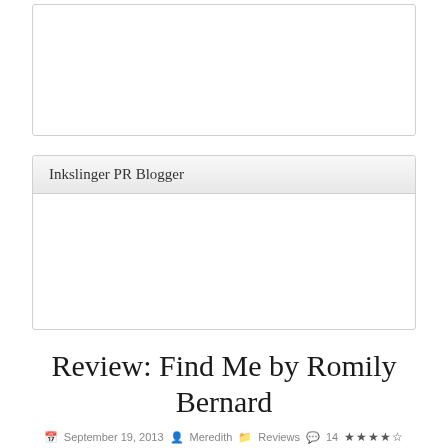[Figure (other): Empty white widget box with border, no visible content]
Inkslinger PR Blogger
[Figure (other): Empty white widget box content area, no visible content]
Review: Find Me by Romily Bernard
September 19, 2013  Meredith  Reviews  14 ★★★★☆